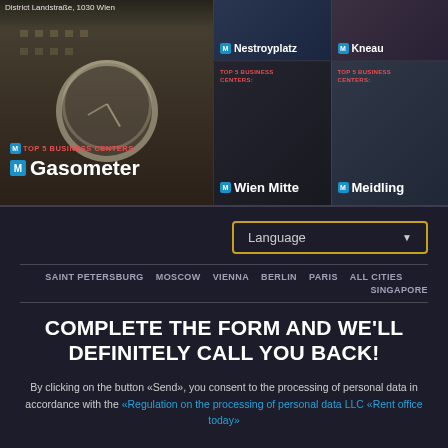[Figure (screenshot): Top image grid showing Vienna business centers: Gasometer (left large panel with clock tower building), Nestroyplatz and Kneau (top right panels), Wien Mitte and Meidling (bottom right panels). Overlaid text labels with Metro M icons and 'TOP 5 BUSINESS CENTERS' labels.]
District Landstraße, 1030 Wien
TOP 5 BUSINESS CENTERS: Gasometer
Nestroyplatz
Kneau
TOP 5 BUSINESS CENTERS: Wien Mitte
TOP 5 BUSINESS CENTERS: Meidling
Language
SAINT PETERSBURG
MOSCOW
VIENNA
BERLIN
PARIS
ALL CITIES
SINGAPORE
COMPLETE THE FORM AND WE'LL DEFINITELY CALL YOU BACK!
By clicking on the button «Send», you consent to the processing of personal data in accordance with the «Regulation on the processing of personal data LLC «Rent office today»